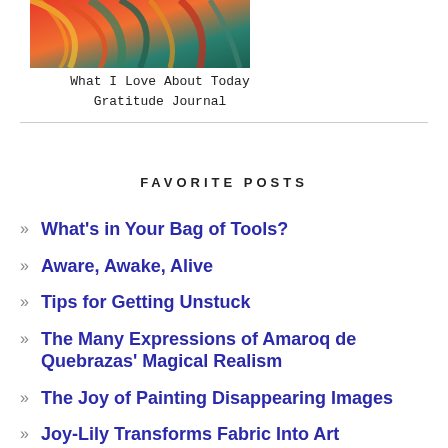[Figure (photo): Colorful abstract feather or paint strokes in red, orange, green, and teal colors at the top of the page]
What I Love About Today
Gratitude Journal
FAVORITE POSTS
What's in Your Bag of Tools?
Aware, Awake, Alive
Tips for Getting Unstuck
The Many Expressions of Amaroq de Quebrazas' Magical Realism
The Joy of Painting Disappearing Images
Joy-Lily Transforms Fabric Into Art